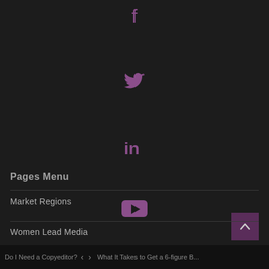[Figure (other): Social media icons (Facebook, Twitter, LinkedIn, YouTube) displayed vertically centered, in purple/mauve color on dark background]
Pages Menu
Market Regions
Women Lead Media
Women Lead Media
Do I Need a Copyeditor? < > What It Takes to Get a 6-figure B...